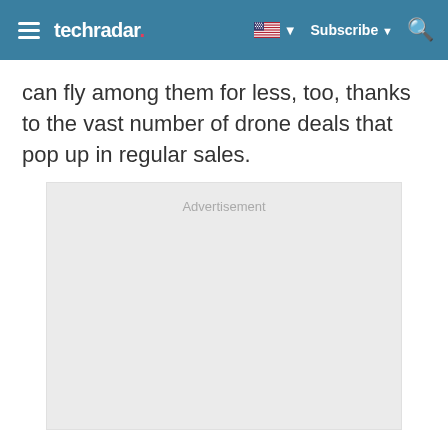techradar
can fly among them for less, too, thanks to the vast number of drone deals that pop up in regular sales.
[Figure (other): Advertisement placeholder box with light gray background]